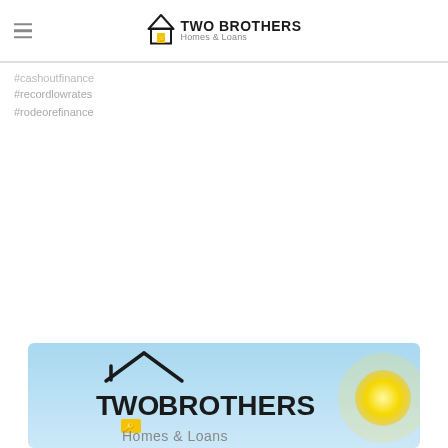Two Brothers Homes & Loans
#cashoutfinance
#recordlowrates
#rodeorefinance
[Figure (logo): Two Brothers Homes & Loans logo on a light blue sky background with a yellow sun, showing a house silhouette icon and the company name in bold black text]